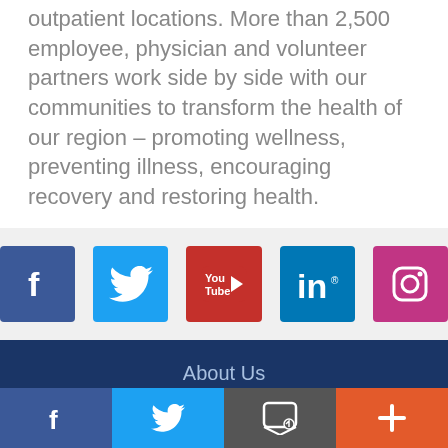outpatient locations. More than 2,500 employee, physician and volunteer partners work side by side with our communities to transform the health of our region – promoting wellness, preventing illness, encouraging recovery and restoring health.
[Figure (infographic): Row of five social media icons: Facebook (blue), Twitter (light blue), YouTube (red), LinkedIn (blue), Instagram (pink/magenta)]
About Us
Careers
Provider Oppo...
Contact Us
[Figure (infographic): Bottom navigation bar with four sections: Facebook (dark blue), Twitter (light blue), message/email icon (dark grey), plus icon (orange-red)]